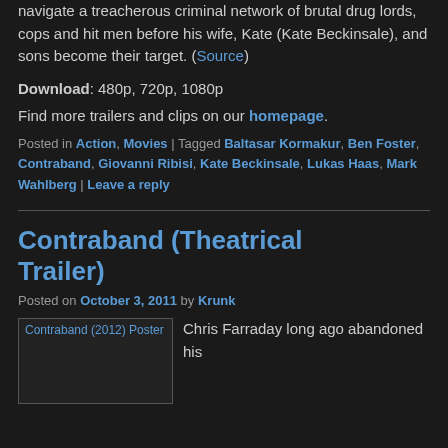navigate a treacherous criminal network of brutal drug lords, cops and hit men before his wife, Kate (Kate Beckinsale), and sons become their target. (Source)
Download: 480p, 720p, 1080p
Find more trailers and clips on our homepage.
Posted in Action, Movies | Tagged Baltasar Kormakur, Ben Foster, Contraband, Giovanni Ribisi, Kate Beckinsale, Lukas Haas, Mark Wahlberg | Leave a reply
Contraband (Theatrical Trailer)
Posted on October 3, 2011 by Krunk
[Figure (illustration): Broken image placeholder for Contraband (2012) Poster]
Chris Farraday long ago abandoned his